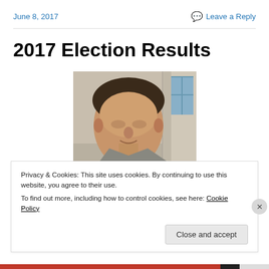June 8, 2017    Leave a Reply
2017 Election Results
[Figure (photo): Close-up photo of a middle-aged man with short dark hair, smiling, in front of a stone pillar and window background]
Privacy & Cookies: This site uses cookies. By continuing to use this website, you agree to their use.
To find out more, including how to control cookies, see here: Cookie Policy